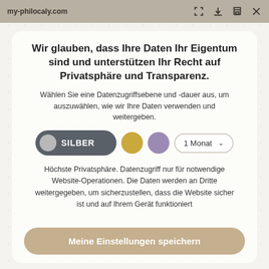my-philocaly.com
Wir glauben, dass Ihre Daten Ihr Eigentum sind und unterstützen Ihr Recht auf Privatsphäre und Transparenz.
Wählen Sie eine Datenzugriffsebene und -dauer aus, um auszuwählen, wie wir Ihre Daten verwenden und weitergeben.
[Figure (infographic): Tier selector with SILBER (silver) button active, gold circle, purple circle, and 1 Monat dropdown]
Höchste Privatsphäre. Datenzugriff nur für notwendige Website-Operationen. Die Daten werden an Dritte weitergegeben, um sicherzustellen, dass die Website sicher ist und auf Ihrem Gerät funktioniert
Meine Einstellungen speichern